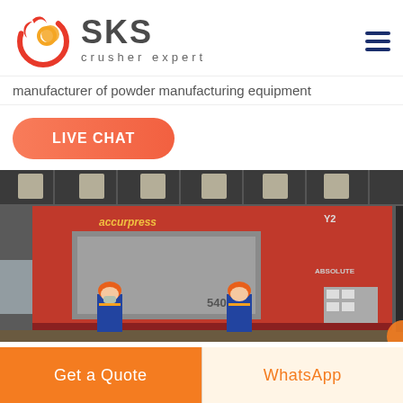[Figure (logo): SKS crusher expert logo with stylized red circular icon and gray SKS text]
manufacturer of powder manufacturing equipment
LIVE CHAT
[Figure (photo): Factory interior with large red Accurpress press brake machines, two workers in orange hard hats and safety vests standing in front]
Get a Quote
WhatsApp